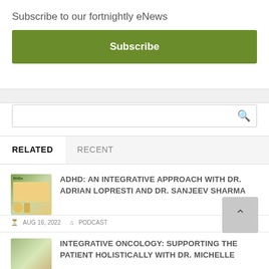Subscribe to our fortnightly eNews
Subscribe
RELATED | RECENT
ADHD: AN INTEGRATIVE APPROACH WITH DR. ADRIAN LOPRESTI AND DR. SANJEEV SHARMA
AUG 16, 2022  PODCAST
INTEGRATIVE ONCOLOGY: SUPPORTING THE PATIENT HOLISTICALLY WITH DR. MICHELLE WOOLHOUSE AND CARLA WRENN